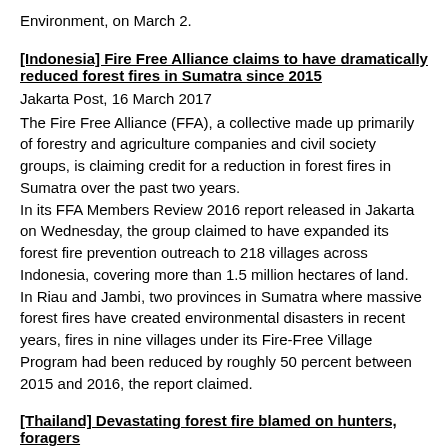Environment, on March 2.
[Indonesia] Fire Free Alliance claims to have dramatically reduced forest fires in Sumatra since 2015
Jakarta Post, 16 March 2017
The Fire Free Alliance (FFA), a collective made up primarily of forestry and agriculture companies and civil society groups, is claiming credit for a reduction in forest fires in Sumatra over the past two years.
In its FFA Members Review 2016 report released in Jakarta on Wednesday, the group claimed to have expanded its forest fire prevention outreach to 218 villages across Indonesia, covering more than 1.5 million hectares of land.
In Riau and Jambi, two provinces in Sumatra where massive forest fires have created environmental disasters in recent years, fires in nine villages under its Fire-Free Village Program had been reduced by roughly 50 percent between 2015 and 2016, the report claimed.
[Thailand] Devastating forest fire blamed on hunters, foragers
By Asaree Thaitrakulpanich, Khao Sod, 16 March 2017
A fire that scorched hundreds of rai (dozens of hectares) of